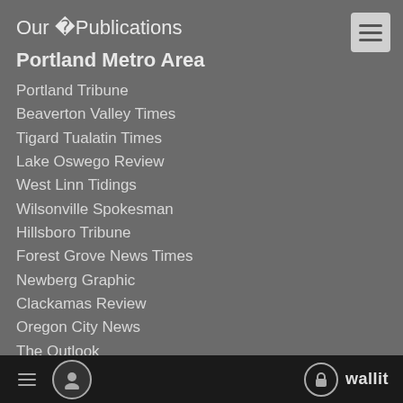Our � Publications
Portland Metro Area
Portland Tribune
Beaverton Valley Times
Tigard Tualatin Times
Lake Oswego Review
West Linn Tidings
Wilsonville Spokesman
Hillsboro Tribune
Forest Grove News Times
Newberg Graphic
Clackamas Review
Oregon City News
The Outlook
Sandy Post
Estacada News
Canby Herald
Woodburn Independent
wallit